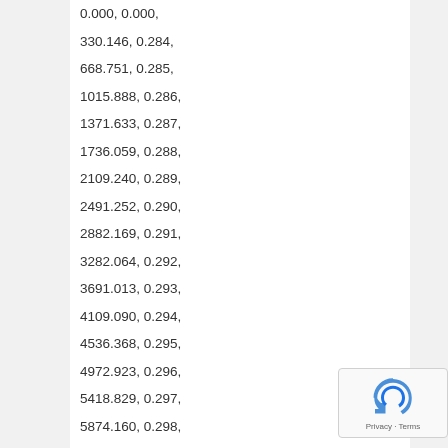0.000, 0.000,
330.146, 0.284,
668.751, 0.285,
1015.888, 0.286,
1371.633, 0.287,
1736.059, 0.288,
2109.240, 0.289,
2491.252, 0.290,
2882.169, 0.291,
3282.064, 0.292,
3691.013, 0.293,
4109.090, 0.294,
4536.368, 0.295,
4972.923, 0.296,
5418.829, 0.297,
5874.160, 0.298,
6338.991, 0.299,
6813.396, 0.300,
7297.449, 0.301,